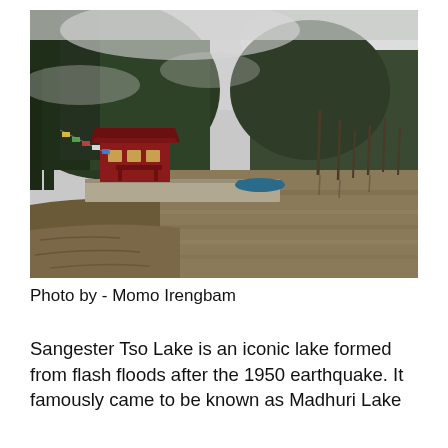[Figure (photo): A scenic lake (Sangester Tso / Madhuri Lake) in a mountainous forested area. A red building/temple structure is visible on a dock to the left, with dead tree stumps protruding from the murky water on the right, and misty forested hills in the background.]
Photo by - Momo Irengbam
Sangester Tso Lake is an iconic lake formed from flash floods after the 1950 earthquake. It famously came to be known as Madhuri Lake after Bollywood actress Madhuri Dixit had...